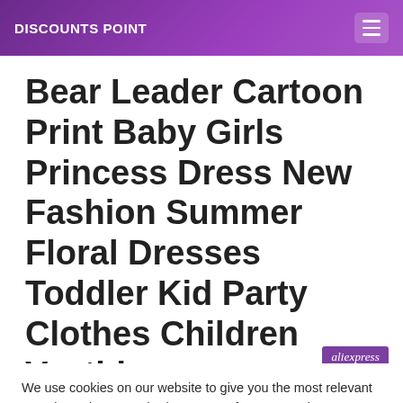DISCOUNTS POINT
Bear Leader Cartoon Print Baby Girls Princess Dress New Fashion Summer Floral Dresses Toddler Kid Party Clothes Children Vestido
[Figure (logo): AliExpress logo badge in purple]
We use cookies on our website to give you the most relevant experience by remembering your preferences and repeat visits. By clicking “Accept”, you consent to the use of ALL the cookies.
Cookie settings | ACCEPT